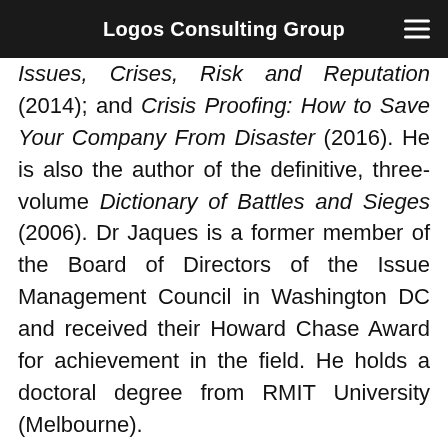Logos Consulting Group
Issues, Crises, Risk and Reputation (2014); and Crisis Proofing: How to Save Your Company From Disaster (2016). He is also the author of the definitive, three-volume Dictionary of Battles and Sieges (2006). Dr Jaques is a former member of the Board of Directors of the Issue Management Council in Washington DC and received their Howard Chase Award for achievement in the field. He holds a doctoral degree from RMIT University (Melbourne).